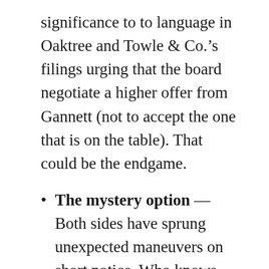significance to to language in Oaktree and Towle & Co.’s filings urging that the board negotiate a higher offer from Gannett (not to accept the one that is on the table). That could be the endgame.
The mystery option — Both sides have sprung unexpected maneuvers on short notice. Who knows for sure what more they may have in their respective arsenals?
Whatever the outcome of today’s meeting, it might at least yield new